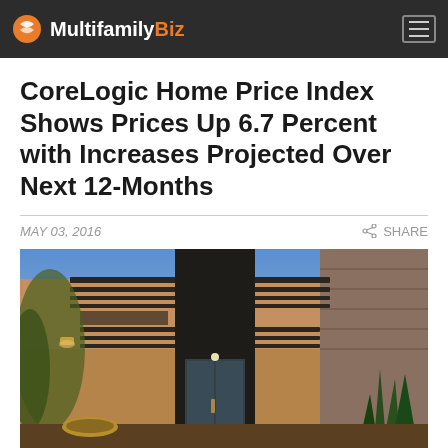MultifamilyBiz
CoreLogic Home Price Index Shows Prices Up 6.7 Percent with Increases Projected Over Next 12-Months
MAY 03, 2016
SHARE
[Figure (photo): Exterior photo of a modern luxury home with horizontal slat overhangs, stone cladding, desert vegetation including agave plants, warm evening lighting, and a glass front door entrance]